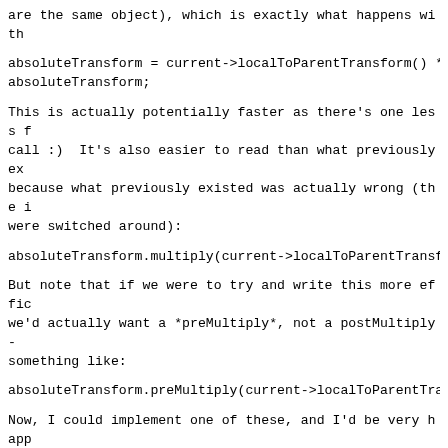are the same object), which is exactly what happens with
This is actually potentially faster as there's one less f call :)  It's also easier to read than what previously ex because what previously existed was actually wrong (the i were switched around):
But note that if we were to try and write this more effic we'd actually want a *preMultiply*, not a postMultiply - something like:
Now, I could implement one of these, and I'd be very happ either in this bug or as a new one (I'd prefer doing it i separate bug as I think the current change stands on its clearing up an important confusion).  But it's important remember that:
(1) what was called multLeft was misnamed and in fact sho called multRight, multiply or postMultiply.
(2) operator*, operator*= and multiply all currently don' what they advertise - they should do a multRight but they multLeft
(3) there has *never* been a genuine, fast multLeft / pre - operator*, operator*= and multiply provide this functi